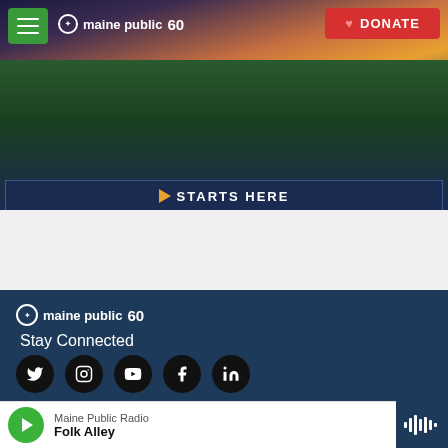[Figure (screenshot): Maine Public website screenshot showing header with hamburger menu, Maine Public 60th anniversary logo, DONATE button, and a banner advertisement with landscape photo and 'STARTS HERE' text]
[Figure (screenshot): Maine Public website footer section on dark navy background showing Maine Public 60 logo, Stay Connected heading with social media icons (Twitter, Instagram, YouTube, Facebook, LinkedIn), copyright 2022 Maine Public text, and bottom audio player bar playing Folk Alley on Maine Public Radio]
Maine Public Radio | Folk Alley